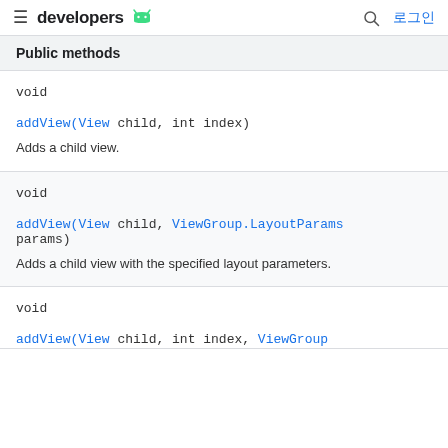≡ developers 🤖  🔍 로그인
Public methods
void
addView(View child, int index)
Adds a child view.
void
addView(View child, ViewGroup.LayoutParams params)
Adds a child view with the specified layout parameters.
void
addView(View child, int index, ViewGroup…